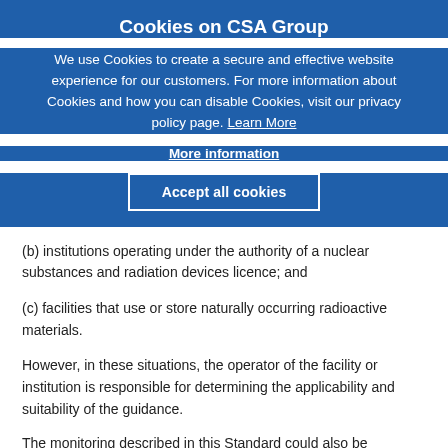Cookies on CSA Group
We use Cookies to create a secure and effective website experience for our customers. For more information about Cookies and how you can disable Cookies, visit our privacy policy page. Learn More
More information
Accept all cookies
(b) institutions operating under the authority of a nuclear substances and radiation devices licence; and
(c) facilities that use or store naturally occurring radioactive materials.
However, in these situations, the operator of the facility or institution is responsible for determining the applicability and suitability of the guidance.
The monitoring described in this Standard could also be applicable to low-level emissions of nuclear and hazardous